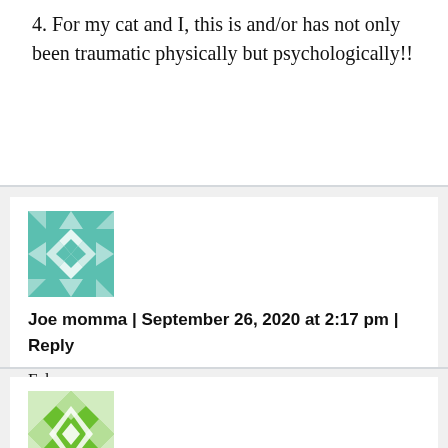4. For my cat and I, this is and/or has not only been traumatic physically but psychologically!!
[Figure (illustration): Teal/green geometric quilt-pattern avatar for user Joe momma]
Joe momma | September 26, 2020 at 2:17 pm | Reply
Fake news
[Figure (illustration): Green geometric quilt-pattern avatar for another user]